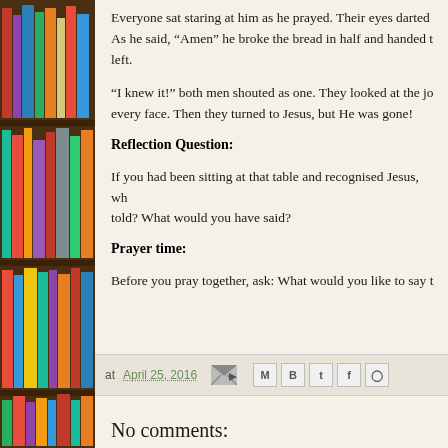[Figure (photo): Bookshelf with colorful books on the left side of the page]
Everyone sat staring at him as he prayed. Their eyes darted about. As he said, “Amen” he broke the bread in half and handed t… left.
“I knew it!” both men shouted as one. They looked at the jo… every face. Then they turned to Jesus, but He was gone!
Reflection Question:
If you had been sitting at that table and recognised Jesus, wh… told? What would you have said?
Prayer time:
Before you pray together, ask: What would you like to say t…
at April 25, 2016
No comments: